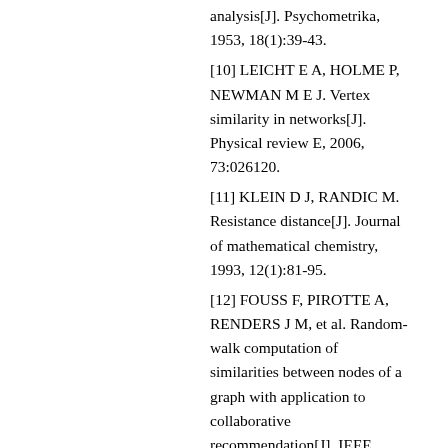analysis[J]. Psychometrika, 1953, 18(1):39-43.
[10] LEICHT E A, HOLME P, NEWMAN M E J. Vertex similarity in networks[J]. Physical review E, 2006, 73:026120.
[11] KLEIN D J, RANDIC M. Resistance distance[J]. Journal of mathematical chemistry, 1993, 12(1):81-95.
[12] FOUSS F, PIROTTE A, RENDERS J M, et al. Random-walk computation of similarities between nodes of a graph with application to collaborative recommendation[J]. IEEE transactions on knowledge and data engineering, 2007, 19(3):355-369.
[13] BRIN S, PAGE L. The anatomy of a large-scale hypertextual Web search engine[J]. Computer networks and ISDN systems, 1998, 30(1-7):107-117.
[14] JEH G, WIDOM J. SimRank:a measure of structural-context similarity[C]//Proceedings of the 8th ACM SIGKDD International Conference on Knowledge Discovery and Data Mining, Edmonton, Alberta, Canada, 2002:538-543.